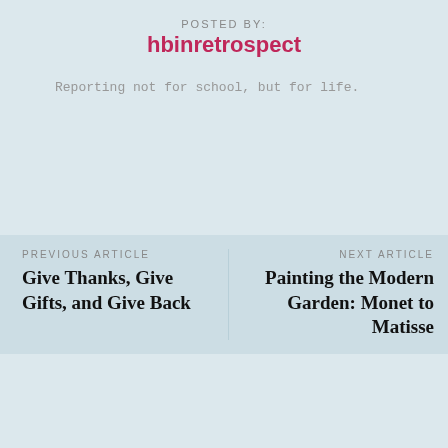POSTED BY:
hbinretrospect
Reporting not for school, but for life.
PREVIOUS ARTICLE
Give Thanks, Give Gifts, and Give Back
NEXT ARTICLE
Painting the Modern Garden: Monet to Matisse